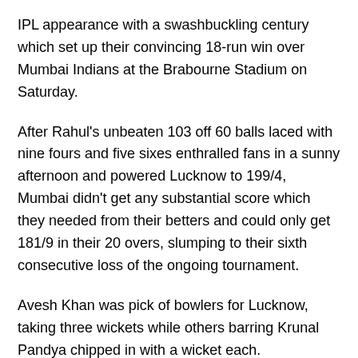IPL appearance with a swashbuckling century which set up their convincing 18-run win over Mumbai Indians at the Brabourne Stadium on Saturday.
After Rahul's unbeaten 103 off 60 balls laced with nine fours and five sixes enthralled fans in a sunny afternoon and powered Lucknow to 199/4, Mumbai didn't get any substantial score which they needed from their betters and could only get 181/9 in their 20 overs, slumping to their sixth consecutive loss of the ongoing tournament.
Avesh Khan was pick of bowlers for Lucknow, taking three wickets while others barring Krunal Pandya chipped in with a wicket each.
Rohit Sharma's indifferent run continued as he nicked behind off Avesh Khan. Young Dewald Brevis continued from where